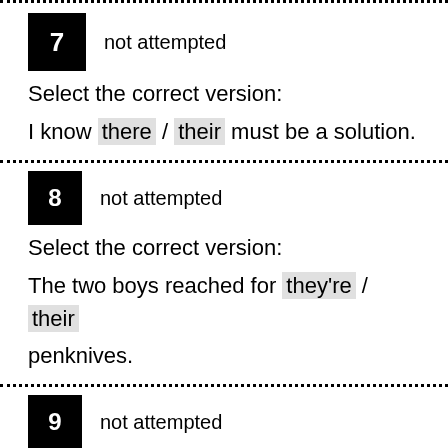7  not attempted
Select the correct version:
I know there / their must be a solution.
8  not attempted
Select the correct version:
The two boys reached for they're / their penknives.
9  not attempted